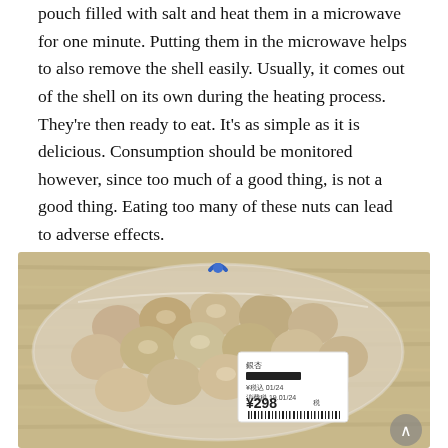pouch filled with salt and heat them in a microwave for one minute. Putting them in the microwave helps to also remove the shell easily. Usually, it comes out of the shell on its own during the heating process. They're then ready to eat. It's as simple as it is delicious. Consumption should be monitored however, since too much of a good thing, is not a good thing. Eating too many of these nuts can lead to adverse effects.
[Figure (photo): A transparent plastic bag filled with chestnuts/nuts tied with a blue twist tie, placed on a light wood surface. A white price label showing ¥298 with a barcode is visible on the bag.]